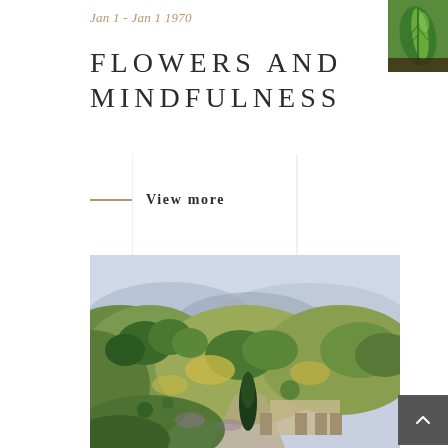Jan 1 - Jan 1 1970
FLOWERS AND MINDFULNESS
[Figure (photo): Thumbnail of green leaf/flower artwork in top right corner]
View more
[Figure (photo): Impressionist landscape painting showing rolling hills with trees, a house with columns, and a dark cypress tree in the foreground, in green and yellow tones]
[Figure (other): Dark gray square button with upward-pointing chevron arrow, bottom right corner]